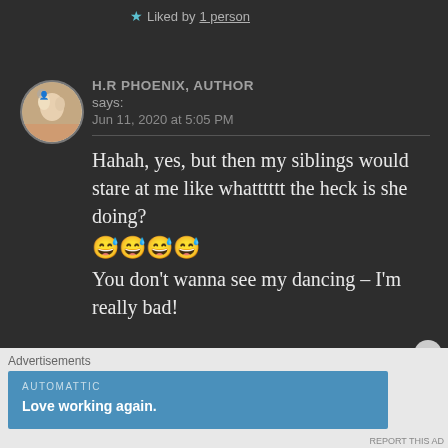★ Liked by 1 person
H.R PHOENIX, AUTHOR says: Jun 11, 2020 at 5:05 PM
Hahah, yes, but then my siblings would stare at me like whatttttt the heck is she doing? 😅😅😅😅
You don't wanna see my dancing – I'm really bad!
Advertisements
AUTOMATTIC
Love working again.